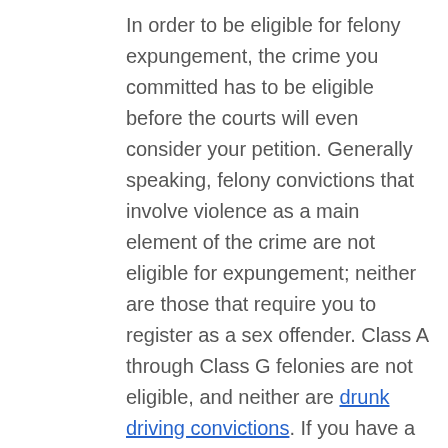In order to be eligible for felony expungement, the crime you committed has to be eligible before the courts will even consider your petition. Generally speaking, felony convictions that involve violence as a main element of the crime are not eligible for expungement; neither are those that require you to register as a sex offender. Class A through Class G felonies are not eligible, and neither are drunk driving convictions. If you have a conviction that isn't eligible for expungement, you can still petition the governor for a pardon. However, a pardon isn't that easy to get – and statistically, the odds are against you.